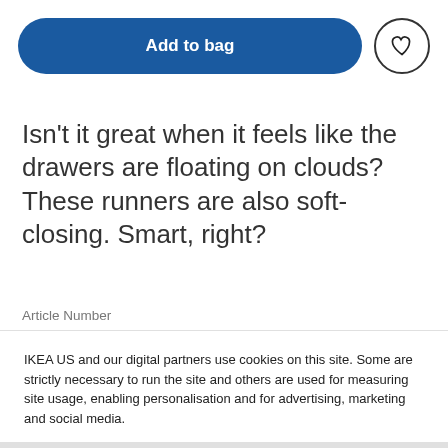[Figure (screenshot): Add to bag blue pill button with heart icon circle button to the right]
Isn't it great when it feels like the drawers are floating on clouds? These runners are also soft-closing. Smart, right?
Article Number
IKEA US and our digital partners use cookies on this site. Some are strictly necessary to run the site and others are used for measuring site usage, enabling personalisation and for advertising, marketing and social media.
[Figure (screenshot): Cookie settings button (light) and Ok button (dark/black)]